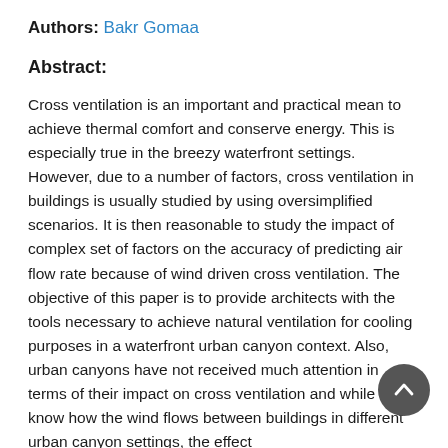Authors: Bakr Gomaa
Abstract:
Cross ventilation is an important and practical mean to achieve thermal comfort and conserve energy. This is especially true in the breezy waterfront settings. However, due to a number of factors, cross ventilation in buildings is usually studied by using oversimplified scenarios. It is then reasonable to study the impact of complex set of factors on the accuracy of predicting air flow rate because of wind driven cross ventilation. The objective of this paper is to provide architects with the tools necessary to achieve natural ventilation for cooling purposes in a waterfront urban canyon context. Also, urban canyons have not received much attention in terms of their impact on cross ventilation and while we know how the wind flows between buildings in different urban canyon settings, the effect